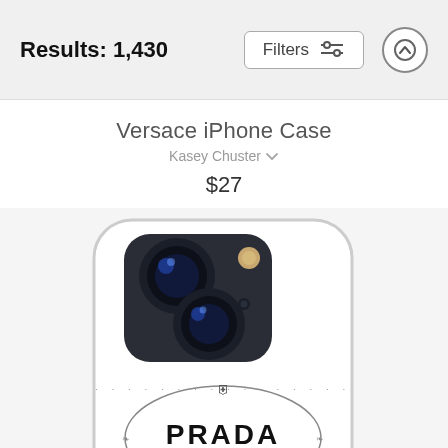Results: 1,430
Filters
Versace iPhone Case
Kasey Chuster
$27
[Figure (photo): iPhone case with a Prada Milano logo on a white background, showing the back camera module of the phone.]